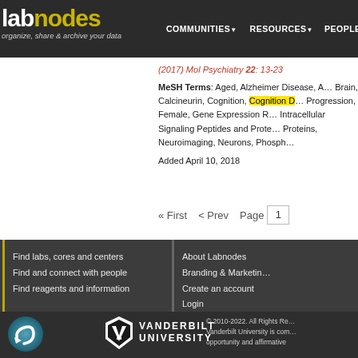lab nodes — COMMUNITIES ▼  RESOURCES ▼  PEOPLE
(2017) Mol Psychiatry 22: 13-23
MeSH Terms: Aged, Alzheimer Disease, A… Brain, Calcineurin, Cognition, Cognition D… Progression, Female, Gene Expression R… Intracellular Signaling Peptides and Prote… Proteins, Neuroimaging, Neurons, Phosph…
Added April 10, 2018
« First  < Prev  Page 1
Find labs, cores and centers | Find and connect with people | Find reagents and information | About Labnodes | Branding & Marketing | Create an account | Login
[Figure (logo): Labnodes logo with swirl icon and Vanderbilt University wordmark]
© 2010-2022. All Rights Re… Vanderbilt University is com… opportunity and affirmative